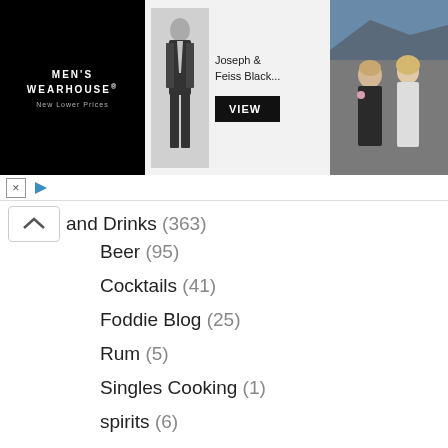[Figure (screenshot): Men's Wearhouse advertisement banner with suit model and couple photo. Text: Joseph & Feiss Black... with VIEW button.]
and Drinks (363)
Beer (95)
Cocktails (41)
Foddie Blog (25)
Rum (5)
Singles Cooking (1)
spirits (6)
Spirits & Beer Industry (79)
Tequila (10)
Wine (76)
Homepage Fun Stuff (5)
Homepage Lifestyle (2)